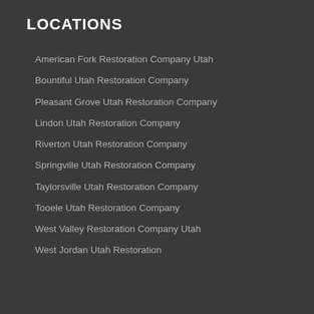LOCATIONS
American Fork Restoration Company Utah
Bountiful Utah Restoration Company
Pleasant Grove Utah Restoration Company
Lindon Utah Restoration Company
Riverton Utah Restoration Company
Springville Utah Restoration Company
Taylorsville Utah Restoration Company
Tooele Utah Restoration Company
West Valley Restoration Company Utah
West Jordan Utah Restoration